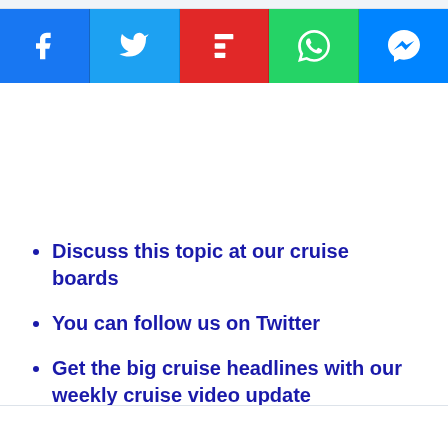[Figure (infographic): Social sharing bar with five icons: Facebook (blue), Twitter (light blue), Flipboard (red), WhatsApp (green), Messenger (blue)]
Discuss this topic at our cruise boards
You can follow us on Twitter
Get the big cruise headlines with our weekly cruise video update